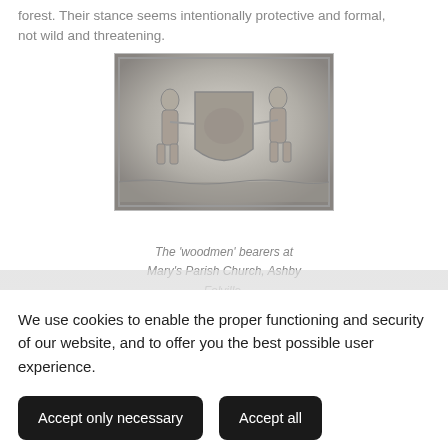forest. Their stance seems intentionally protective and formal, not wild and threatening.
[Figure (photo): Black and white photograph of a carved stone relief showing two 'woodmen' figures as heraldic bearers flanking a shield, at Mary's Parish Church, Ashby Folville.]
The 'woodmen' bearers at Mary's Parish Church, Ashby Folville.
We use cookies to enable the proper functioning and security of our website, and to offer you the best possible user experience.
Accept only necessary
Accept all